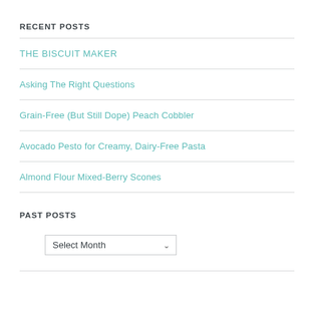RECENT POSTS
THE BISCUIT MAKER
Asking The Right Questions
Grain-Free (But Still Dope) Peach Cobbler
Avocado Pesto for Creamy, Dairy-Free Pasta
Almond Flour Mixed-Berry Scones
PAST POSTS
Select Month